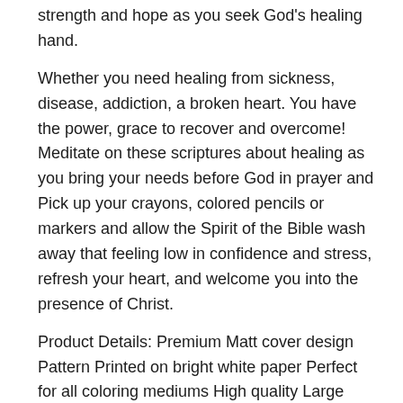strength and hope as you seek God's healing hand.
Whether you need healing from sickness, disease, addiction, a broken heart. You have the power, grace to recover and overcome! Meditate on these scriptures about healing as you bring your needs before God in prayer and Pick up your crayons, colored pencils or markers and allow the Spirit of the Bible wash away that feeling low in confidence and stress, refresh your heart, and welcome you into the presence of Christ.
Product Details: Premium Matt cover design Pattern Printed on bright white paper Perfect for all coloring mediums High quality Large format 8.5"x11. 0" (22x28cm)This positive quotes coloring books is perfect for: -Christmas Gifts Ideas – Birthday Gifts for Women – BFF Gifts – Color Therapy – Stress Relief – Teacher